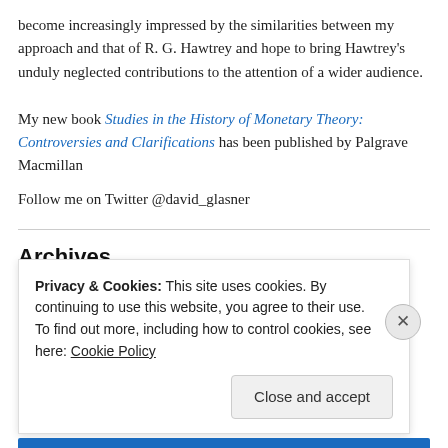become increasingly impressed by the similarities between my approach and that of R. G. Hawtrey and hope to bring Hawtrey's unduly neglected contributions to the attention of a wider audience.
My new book Studies in the History of Monetary Theory: Controversies and Clarifications has been published by Palgrave Macmillan
Follow me on Twitter @david_glasner
Archives
August 2022 (1)
July 2022 (2)
Privacy & Cookies: This site uses cookies. By continuing to use this website, you agree to their use. To find out more, including how to control cookies, see here: Cookie Policy